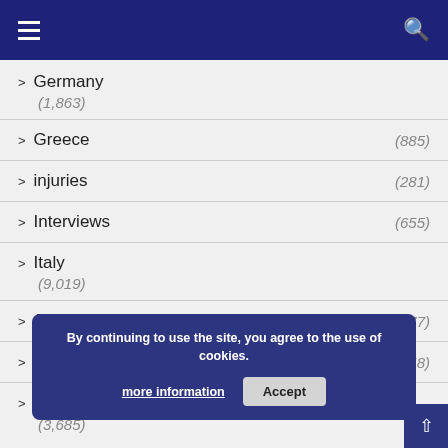Navigation header with menu and search icons
Germany (1,863)
Greece (885)
injuries (281)
Interviews (655)
Italy (9,019)
Japan (177)
Korea (158)
Latest news (3,685)
By continuing to use the site, you agree to the use of cookies. more information | Accept